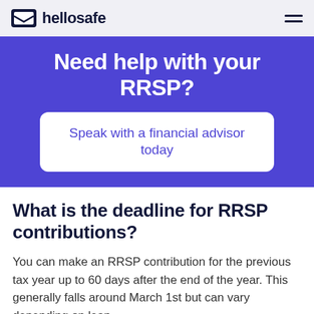hellosafe
[Figure (infographic): Purple promotional banner with heading 'Need help with your RRSP?' and a white rounded button 'Speak with a financial advisor today']
What is the deadline for RRSP contributions?
You can make an RRSP contribution for the previous tax year up to 60 days after the end of the year. This generally falls around March 1st but can vary depending on leap